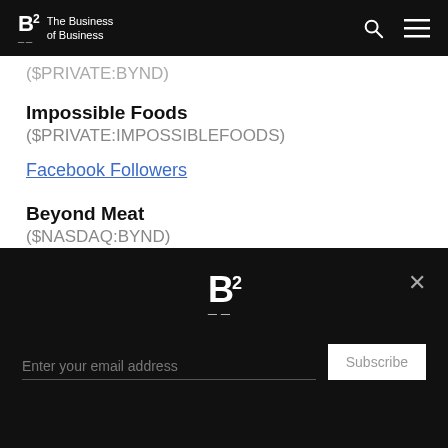The Business of Business
($PRIVATE:BYND)
Impossible Foods
($PRIVATE:IMPOSSIBLEFOODS)
Facebook Followers
Beyond Meat
($NASDAQ:BYND)
Impossible Foods
($PRIVATE:IMPOSSIBLEFOODS)
Job Listings
Enter your email address Subscribe